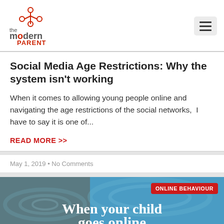[Figure (logo): The Modern Parent logo — stylized circuit/network icon in red, text 'the modern PARENT' in grey and red]
Social Media Age Restrictions: Why the system isn't working
When it comes to allowing young people online and navigating the age restrictions of the social networks,  I have to say it is one of...
READ MORE >>
May 1, 2019 • No Comments
[Figure (photo): Blue water/ocean background image with white bold text 'When your child goes online' and a red badge reading 'ONLINE BEHAVIOUR' in the top right corner]